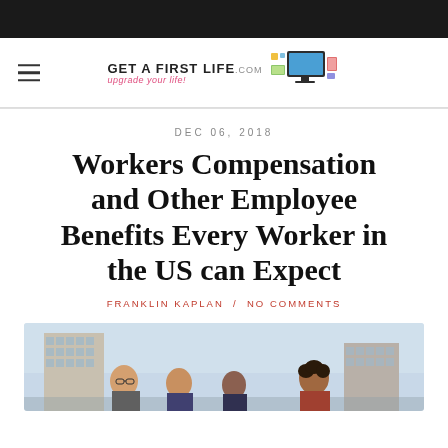[Figure (logo): Get A First Life logo with text 'GET A FIRST LIFE' and subtitle 'upgrade your life!' alongside an icon of a desktop computer setup]
DEC 06, 2018
Workers Compensation and Other Employee Benefits Every Worker in the US can Expect
FRANKLIN KAPLAN / NO COMMENTS
[Figure (photo): Group of diverse office workers standing outdoors in front of a building with a blue sky background]